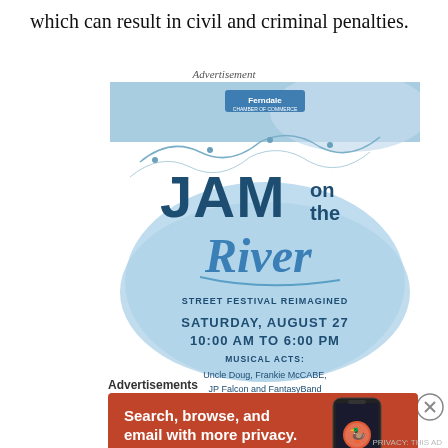which can result in civil and criminal penalties.
Advertisement
[Figure (illustration): Jam on the River advertisement. Ferndale Chamber of Commerce. JAM on the River. Street Festival Reimagined. Saturday, August 27. 10:00 AM to 6:00 PM. Musical Acts: Uncle Doug, Frankie McCABE, JP Falcon and FantasyBand. Click for more information.]
Advertisements
[Figure (illustration): DuckDuckGo advertisement. Search, browse, and email with more privacy. All in One Free App. Shows a smartphone with the DuckDuckGo app. DuckDuckGo logo and branding.]